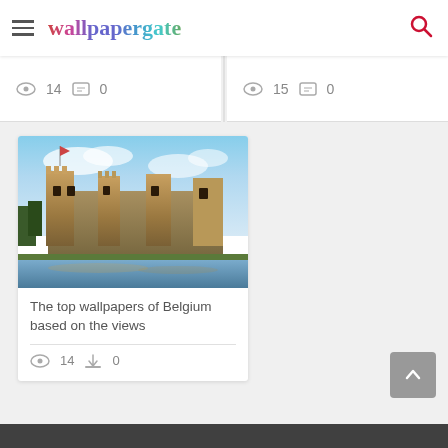wallpapergate
14  0
15  0
[Figure (photo): A castle in Belgium photographed at dusk with dramatic clouds and warm golden lighting reflecting on water. The castle has medieval stone architecture with multiple towers.]
The top wallpapers of Belgium based on the views
14  0